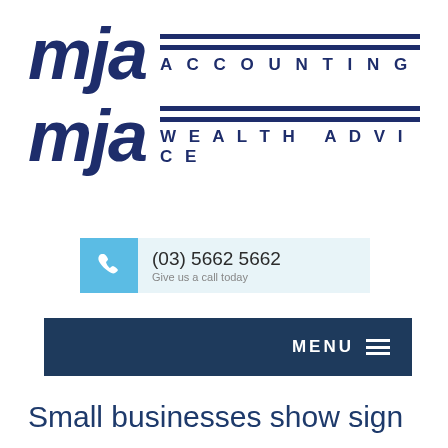[Figure (logo): MJA Accounting logo - bold dark navy italic 'mja' text with two horizontal navy lines and 'ACCOUNTING' text in spaced capitals]
[Figure (logo): MJA Wealth Advice logo - bold dark navy italic 'mja' text with two horizontal navy lines and 'WEALTH ADVICE' text in spaced capitals]
(03) 5662 5662
Give us a call today
MENU
Small businesses show sign